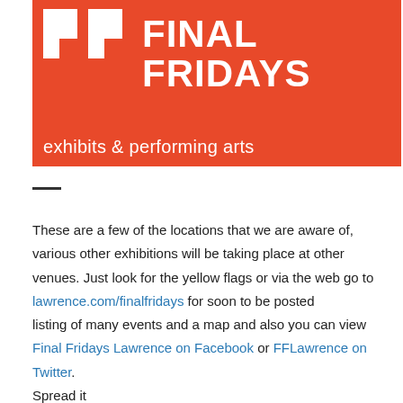[Figure (logo): Final Fridays logo — red/orange background with two white letter F shapes and text 'FINAL FRIDAYS exhibits & performing arts' in white]
These are a few of the locations that we are aware of, various other exhibitions will be taking place at other venues. Just look for the yellow flags or via the web go to lawrence.com/finalfridays for soon to be posted listing of many events and a map and also you can view Final Fridays Lawrence on Facebook or FFLawrence on Twitter.